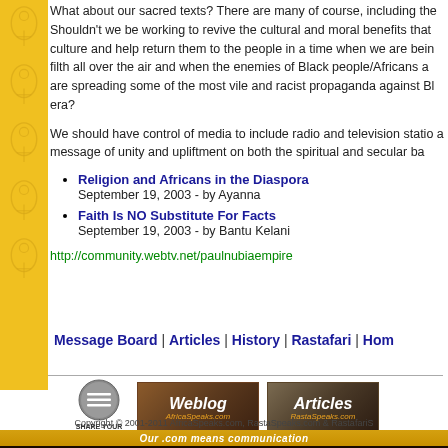What about our sacred texts? There are many of course, including the... Shouldn't we be working to revive the cultural and moral benefits that culture and help return them to the people in a time when we are being filth all over the air and when the enemies of Black people/Africans are spreading some of the most vile and racist propaganda against Bl era?
We should have control of media to include radio and television stations a message of unity and upliftment on both the spiritual and secular ba
Religion and Africans in the Diaspora
September 19, 2003 - by Ayanna
Faith Is NO Substitute For Facts
September 19, 2003 - by Bantu Kelani
http://community.webtv.net/paulnubiaempire
Message Board | Articles | History | Rastafari | Home
[Figure (logo): Share Your Opinion icon - grey circle with lines]
[Figure (logo): Weblog AfricaSpeaks.com banner]
[Figure (logo): Articles RastaSpeaks.com banner]
Copyright © 2001-2011 AfricaSpeaks.com, RastaSpeaks.com & RastafariS
Our .com means communication